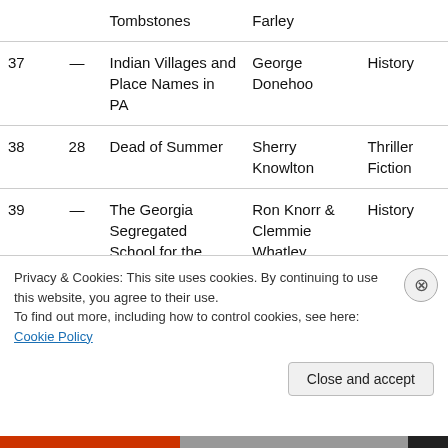| # | Rank | Title | Author | Genre |
| --- | --- | --- | --- | --- |
|  |  | Tombstones | Farley |  |
| 37 | — | Indian Villages and Place Names in PA | George Donehoo | History |
| 38 | 28 | Dead of Summer | Sherry Knowlton | Thriller Fiction |
| 39 | — | The Georgia Segregated School for the | Ron Knorr & Clemmie Whatley | History |
Privacy & Cookies: This site uses cookies. By continuing to use this website, you agree to their use.
To find out more, including how to control cookies, see here: Cookie Policy